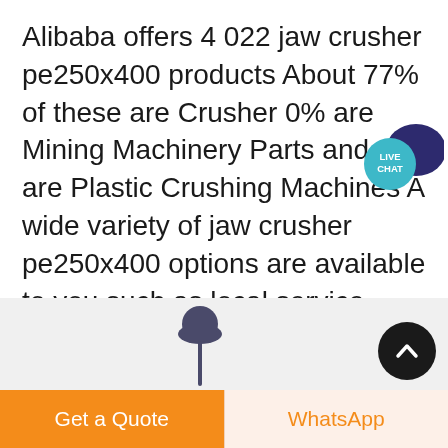Alibaba offers 4 022 jaw crusher pe250x400 products About 77% of these are Crusher 0% are Mining Machinery Parts and 0% are Plastic Crushing Machines A wide variety of jaw crusher pe250x400 options are available to you such as local service location key
[Figure (infographic): Live Chat speech bubble icon in teal/blue color with text LIVE CHAT]
[Figure (other): Orange rounded rectangle button with white text 'Get price']
[Figure (other): Gray section with a small dark umbrella/mushroom icon silhouette]
[Figure (other): Black circular scroll-to-top button with white upward chevron arrow]
[Figure (other): Bottom bar with two buttons: orange 'Get a Quote' button on left, light orange 'WhatsApp' button on right]